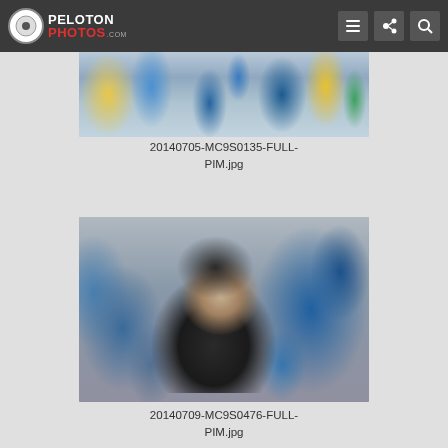PELOTON PHOTOS .com
[Figure (photo): Cropped bottom portion of a cycling race photo showing spectators in yellow and blue rain gear]
20140705-MC9S0135-FULL-PIM.jpg
[Figure (photo): Cyclist wearing black Trek Factory Racing kit and aero helmet with mud on face and gear, racing in wet conditions with crowd in blue raincoats in background]
20140709-MC9S0476-FULL-PIM.jpg